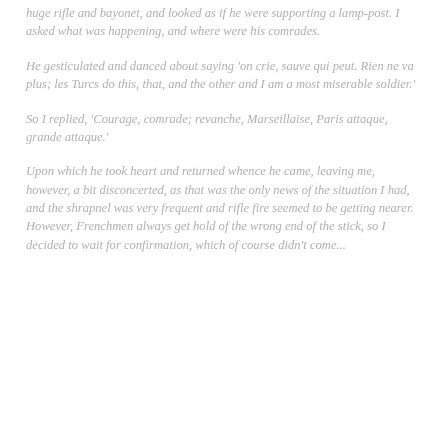huge rifle and bayonet, and looked as if he were supporting a lamp-post. I asked what was happening, and where were his comrades.
He gesticulated and danced about saying 'on crie, sauve qui peut. Rien ne va plus; les Turcs do this, that, and the other and I am a most miserable soldier.'
So I replied, 'Courage, comrade; revanche, Marseillaise, Paris attaque, grande attaque.'
Upon which he took heart and returned whence he came, leaving me, however, a bit disconcerted, as that was the only news of the situation I had, and the shrapnel was very frequent and rifle fire seemed to be getting nearer. However, Frenchmen always get hold of the wrong end of the stick, so I decided to wait for confirmation, which of course didn't come...